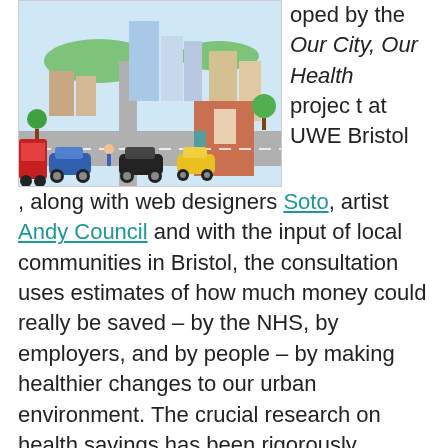[Figure (illustration): Illustrated bird's-eye view of a busy urban street scene with buildings, cars, buses, pedestrians, green spaces, and city infrastructure resembling Bristol.]
oped by the Our City, Our Health project at UWE Bristol
, along with web designers Soto, artist Andy Council and with the input of local communities in Bristol, the consultation uses estimates of how much money could really be saved – by the NHS, by employers, and by people – by making healthier changes to our urban environment. The crucial research on health savings has been rigorously produced by the UPSTREAM urban health project, funded by the Wellcome Trust, and formed of a collaboration